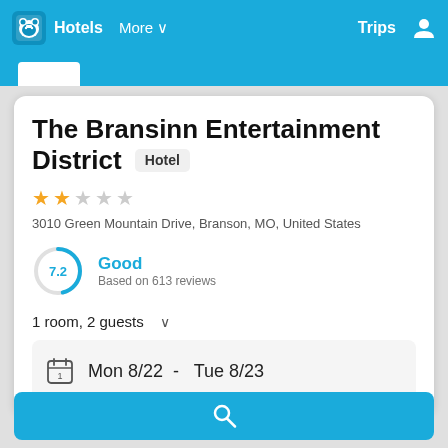Hotels  More  Trips
The Bransinn Entertainment District  Hotel
★★☆☆☆
3010 Green Mountain Drive, Branson, MO, United States
7.2  Good  Based on 613 reviews
1 room, 2 guests
Mon 8/22  -  Tue 8/23